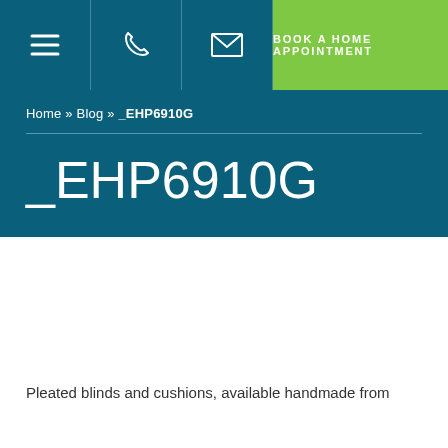BOOK A HOME APPOINTMENT
Home » Blog » _EHP6910G
_EHP6910G
Pleated blinds and cushions, available handmade from